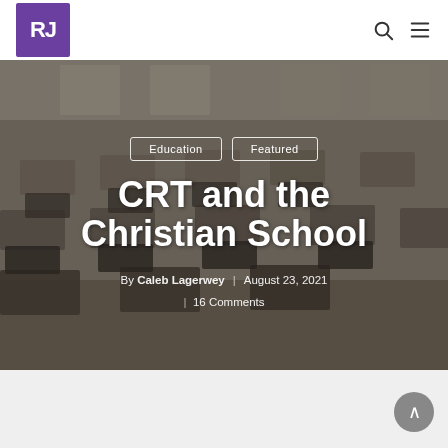RJ (logo) | search icon | menu icon
[Figure (photo): Classroom with empty student desks and chairs, black and white / muted tone photograph used as hero banner background]
Education | Featured
CRT and the Christian School
By Caleb Lagerwey | August 23, 2021 | 16 Comments